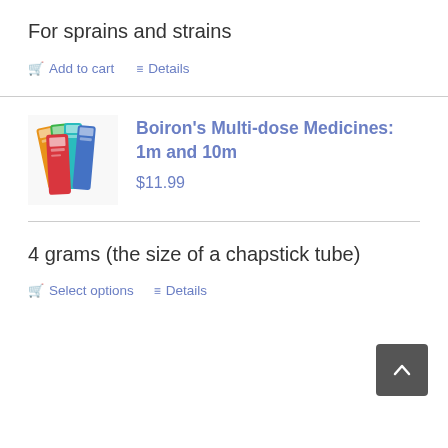For sprains and strains
🛒 Add to cart   ≡ Details
[Figure (photo): Colorful Boiron homeopathic medicine tubes/cards fanned out in red, blue, green, orange colors]
Boiron's Multi-dose Medicines: 1m and 10m
$11.99
4 grams (the size of a chapstick tube)
🛒 Select options   ≡ Details